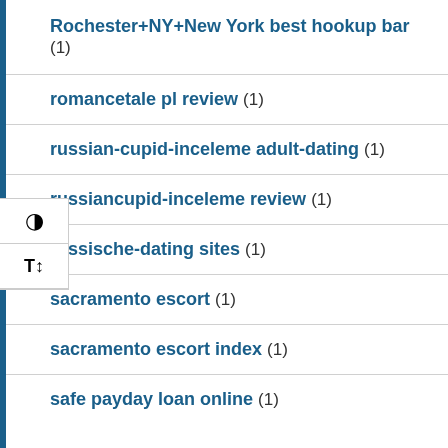Rochester+NY+New York best hookup bar (1)
romancetale pl review (1)
russian-cupid-inceleme adult-dating (1)
russiancupid-inceleme review (1)
russische-dating sites (1)
sacramento escort (1)
sacramento escort index (1)
safe payday loan online (1)